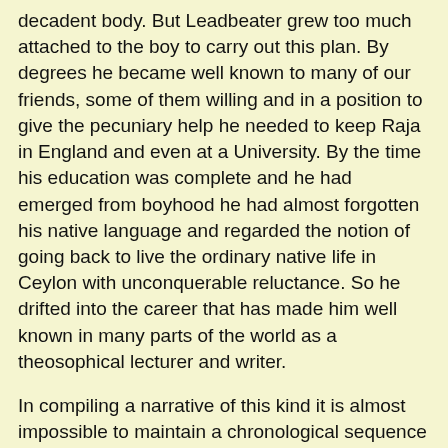decadent body. But Leadbeater grew too much attached to the boy to carry out this plan. By degrees he became well known to many of our friends, some of them willing and in a position to give the pecuniary help he needed to keep Raja in England and even at a University. By the time his education was complete and he had emerged from boyhood he had almost forgotten his native language and regarded the notion of going back to live the ordinary native life in Ceylon with unconquerable reluctance. So he drifted into the career that has made him well known in many parts of the world as a theosophical lecturer and writer.
In compiling a narrative of this kind it is almost impossible to maintain a chronological sequence in dealing with events that have to be recorded. So many separate threads are interwoven with each other that in following out each in turn it is necessary to go back to pick up others. The development of the Society from 1889 onwards was assuming a new character which left that of its early days in the background. Colonel Olcott paid another visit to Europe in that year, traveled about England, Scotland and [Page 97] Ireland and founded many lodges. The British Section was now definitely constituted, and the London Lodge denuded of many members drawn off into Madame Blavatsky's entourage shrank to relatively small proportions. We made a